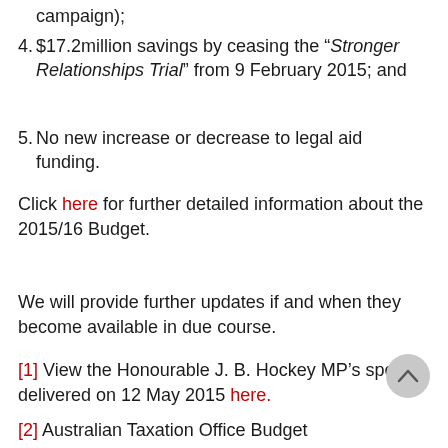campaign);
4. $17.2million savings by ceasing the "Stronger Relationships Trial" from 9 February 2015; and
5. No new increase or decrease to legal aid funding.
Click here for further detailed information about the 2015/16 Budget.
We will provide further updates if and when they become available in due course.
[1] View the Honourable J. B. Hockey MP's speech delivered on 12 May 2015 here.
[2] Australian Taxation Office Budget Announcements Program 1.5